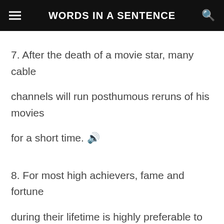WORDS IN A SENTENCE
7. After the death of a movie star, many cable channels will run posthumous reruns of his movies for a short time. 🔊
8. For most high achievers, fame and fortune during their lifetime is highly preferable to posthumous recognition. 🔊